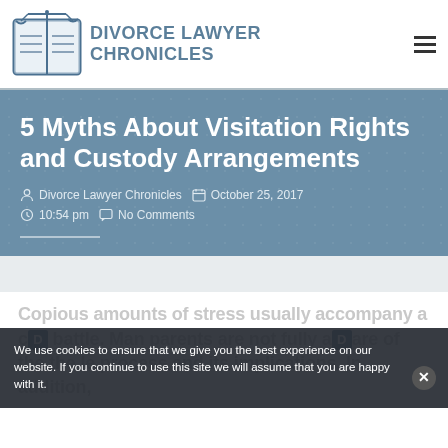DIVORCE LAWYER CHRONICLES
5 Myths About Visitation Rights and Custody Arrangements
Divorce Lawyer Chronicles   October 25, 2017   10:54 pm   No Comments
Copious amounts of stress usually accompany a custody battle. Many parents are not fully aware of the the le process and its implications. In addition,
We use cookies to ensure that we give you the best experience on our website. If you continue to use this site we will assume that you are happy with it.